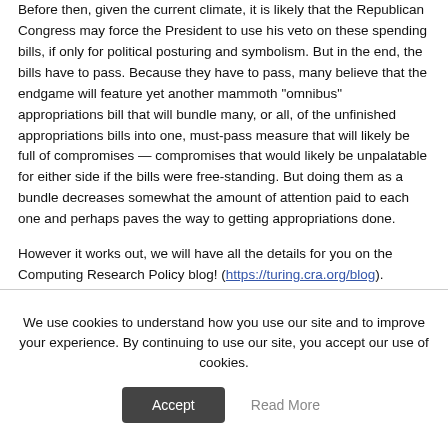Before then, given the current climate, it is likely that the Republican Congress may force the President to use his veto on these spending bills, if only for political posturing and symbolism. But in the end, the bills have to pass. Because they have to pass, many believe that the endgame will feature yet another mammoth "omnibus" appropriations bill that will bundle many, or all, of the unfinished appropriations bills into one, must-pass measure that will likely be full of compromises — compromises that would likely be unpalatable for either side if the bills were free-standing. But doing them as a bundle decreases somewhat the amount of attention paid to each one and perhaps paves the way to getting appropriations done.
However it works out, we will have all the details for you on the Computing Research Policy blog! (https://turing.cra.org/blog).
We use cookies to understand how you use our site and to improve your experience. By continuing to use our site, you accept our use of cookies.